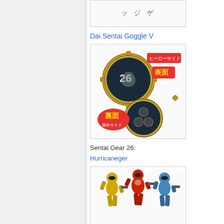[Figure (photo): Top image box - partial view of Japanese text/product]
Dai Sentai Goggle V
[Figure (photo): Sentai Gear 26 coin showing front (ヒーローサイド 表面) with number 26 and monster design, and back (裏面 操作サイド) with three circles design, gold gear-shaped coins]
Sentai Gear 26:
Hurricaneger
[Figure (photo): Three Super Sentai hero figures in yellow, red, and blue/grey suits with weapons posed in action stances]